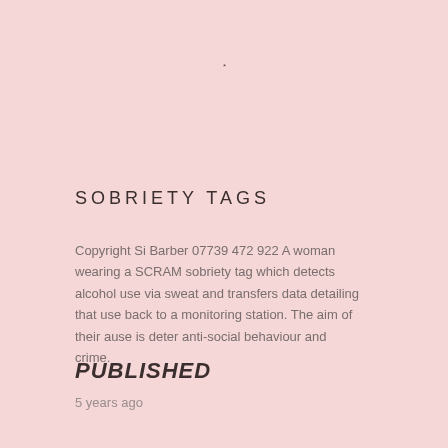*
SOBRIETY TAGS
Copyright Si Barber 07739 472 922 A woman wearing a SCRAM sobriety tag which detects alcohol use via sweat and transfers data detailing that use back to a monitoring station. The aim of their ause is deter anti-social behaviour and crime.
PUBLISHED
5 years ago